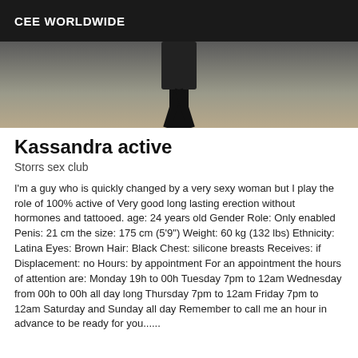CEE WORLDWIDE
[Figure (photo): Partial photo of a person in black clothing, lower body visible, standing on a light-colored floor with a white wall background.]
Kassandra active
Storrs sex club
I'm a guy who is quickly changed by a very sexy woman but I play the role of 100% active of Very good long lasting erection without hormones and tattooed. age: 24 years old Gender Role: Only enabled Penis: 21 cm the size: 175 cm (5'9") Weight: 60 kg (132 lbs) Ethnicity: Latina Eyes: Brown Hair: Black Chest: silicone breasts Receives: if Displacement: no Hours: by appointment For an appointment the hours of attention are: Monday 19h to 00h Tuesday 7pm to 12am Wednesday from 00h to 00h all day long Thursday 7pm to 12am Friday 7pm to 12am Saturday and Sunday all day Remember to call me an hour in advance to be ready for you......